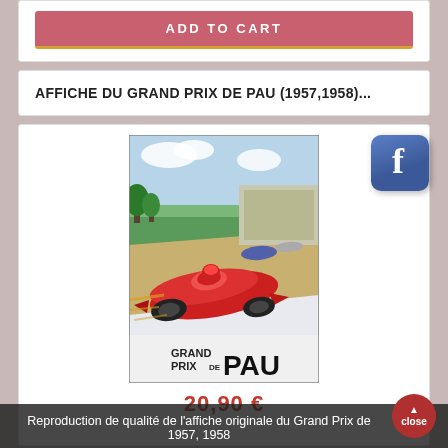ADD TO CART
AFFICHE DU GRAND PRIX DE PAU (1957,1958)...
[Figure (illustration): Vintage Grand Prix de Pau racing poster showing a red Formula 1 race car in the foreground with other cars and a scenic backdrop. Text reads GRAND PRIX DE PAU.]
20,90 €
Reproduction de qualité de l'affiche originale du Grand Prix de Pau 1957, 1958
close